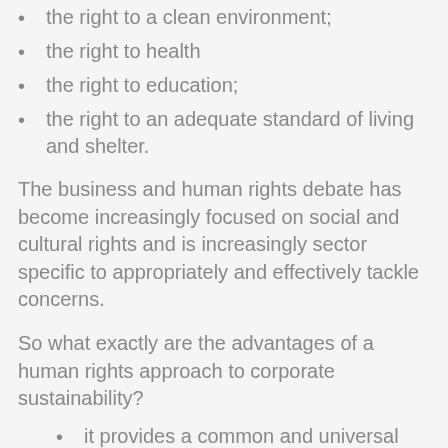the right to a clean environment;
the right to health
the right to education;
the right to an adequate standard of living and shelter.
The business and human rights debate has become increasingly focused on social and cultural rights and is increasingly sector specific to appropriately and effectively tackle concerns.
So what exactly are the advantages of a human rights approach to corporate sustainability?
it provides a common and universal standard which assists with judging company practices across national boundaries.
it can provide a benchmark where national